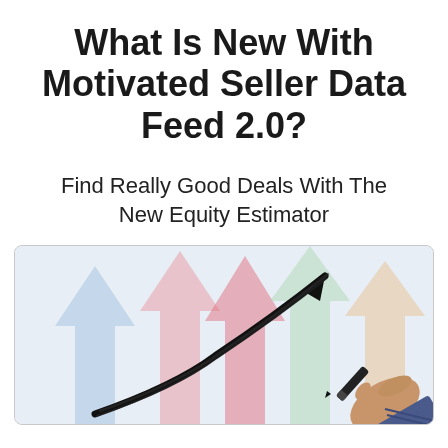What Is New With Motivated Seller Data Feed 2.0?
Find Really Good Deals With The New Equity Estimator
[Figure (illustration): Illustration of a hand drawing a bold black upward-curving arrow with a marker, surrounded by multiple large colorful pastel arrows (blue, pink, red, green, peach) pointing upward in the background.]